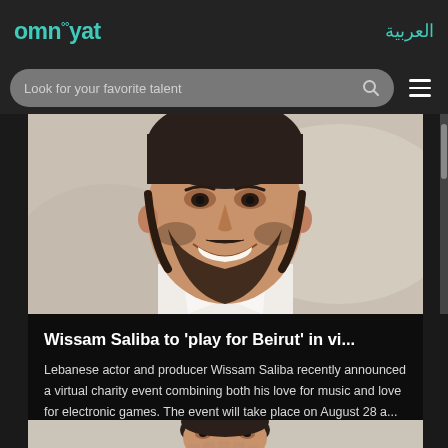omn°°yat | العربية
Look for your favorite talent
[Figure (photo): Close-up photo of a bearded man smiling, wearing a white shirt, with a blurred background]
Wissam Saliba to 'play for Beirut' in vi...
Lebanese actor and producer Wissam Saliba recently announced a virtual charity event combining both his love for music and love for electronic games. The event will take place on August 28 a...
[Figure (photo): Partial photo of a man with dark hair, covering his face with his hand, outdoors]